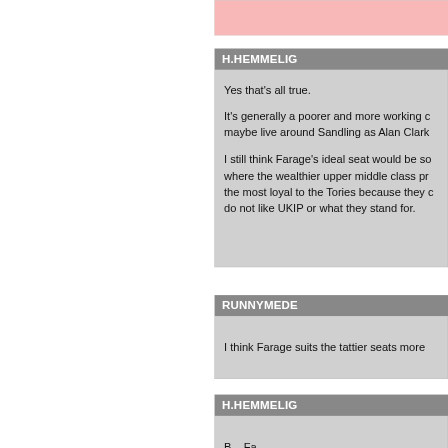[partial text in pink block, content cut off]
H.HEMMELIG
Yes that's all true.

It's generally a poorer and more working c... maybe live around Sandling as Alan Clark...

I still think Farage's ideal seat would be so... where the wealthier upper middle class p... the most loyal to the Tories because they ... do not like UKIP or what they stand for.
RUNNYMEDE
I think Farage suits the tattier seats more...
H.HEMMELIG
B... Fa... [content cut off]